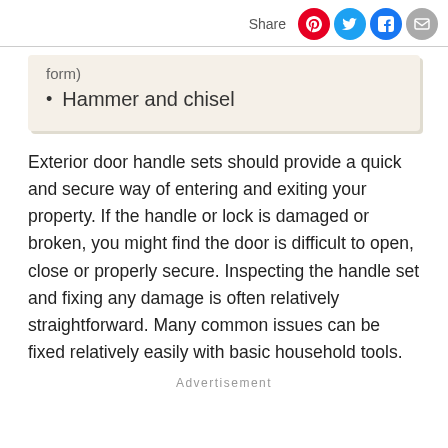Share
form)
Hammer and chisel
Exterior door handle sets should provide a quick and secure way of entering and exiting your property. If the handle or lock is damaged or broken, you might find the door is difficult to open, close or properly secure. Inspecting the handle set and fixing any damage is often relatively straightforward. Many common issues can be fixed relatively easily with basic household tools.
Advertisement